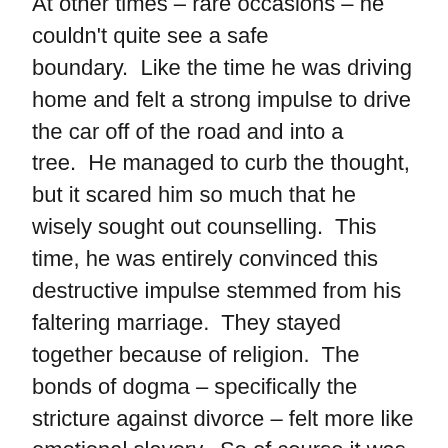At other times – rare occasions – he couldn't quite see a safe boundary.  Like the time he was driving home and felt a strong impulse to drive the car off of the road and into a tree.  He managed to curb the thought, but it scared him so much that he wisely sought out counselling.  This time, he was entirely convinced this destructive impulse stemmed from his faltering marriage.  They stayed together because of religion.  The bonds of dogma – specifically the stricture against divorce – felt more like emotional slavery.  So of course it was logical that he should feel such despair.  The thing that bothered him about it was that he hadn't told anyone about it before having the impulse.  He knew, from everything he read, that this was dangerous.  People who talk about this sort of thing rarely do it – they talk because they want help.  He knew he wasn't crying out for assistance.